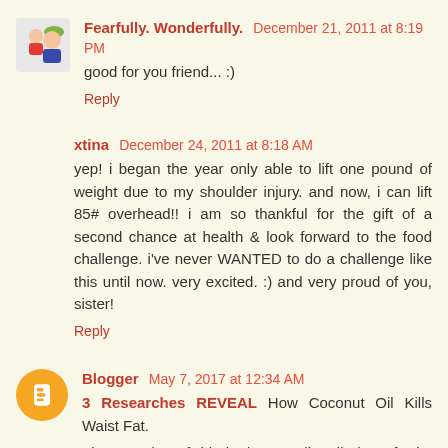Fearfully. Wonderfully. December 21, 2011 at 8:19 PM
good for you friend... :)
Reply
xtina December 24, 2011 at 8:18 AM
yep! i began the year only able to lift one pound of weight due to my shoulder injury. and now, i can lift 85# overhead!! i am so thankful for the gift of a second chance at health & look forward to the food challenge. i've never WANTED to do a challenge like this until now. very excited. :) and very proud of you, sister!
Reply
Blogger May 7, 2017 at 12:34 AM
3 Researches REVEAL How Coconut Oil Kills Waist Fat.
The meaning of this is that you literally burn fat by eating...